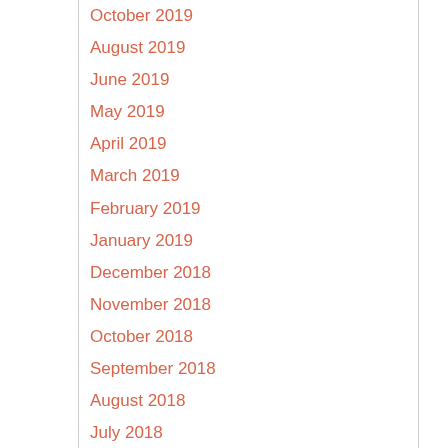October 2019
August 2019
June 2019
May 2019
April 2019
March 2019
February 2019
January 2019
December 2018
November 2018
October 2018
September 2018
August 2018
July 2018
June 2018
May 2018
March 2018
February 2018
January 2018
December 2017
October 2017